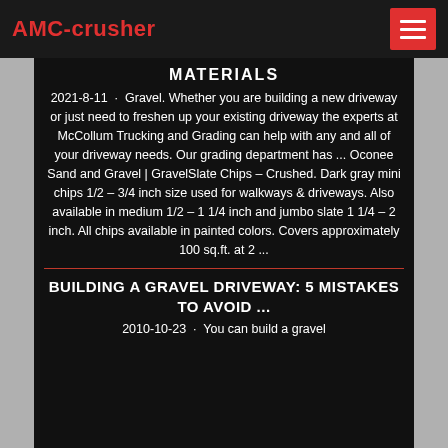AMC-crusher
MATERIALS
2021-8-11 · Gravel. Whether you are building a new driveway or just need to freshen up your existing driveway the experts at McCollum Trucking and Grading can help with any and all of your driveway needs. Our grading department has ... Oconee Sand and Gravel | GravelSlate Chips – Crushed. Dark gray mini chips 1/2 – 3/4 inch size used for walkways & driveways. Also available in medium 1/2 – 1 1/4 inch and jumbo slate 1 1/4 – 2 inch. All chips available in painted colors. Covers approximately 100 sq.ft. at 2 ...
BUILDING A GRAVEL DRIVEWAY: 5 MISTAKES TO AVOID ...
2010-10-23 · You can build a gravel